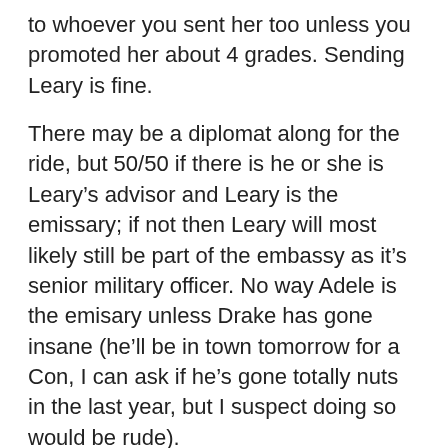to whoever you sent her too unless you promoted her about 4 grades. Sending Leary is fine.
There may be a diplomat along for the ride, but 50/50 if there is he or she is Leary’s advisor and Leary is the emissary; if not then Leary will most likely still be part of the embassy as it’s senior military officer. No way Adele is the emisary unless Drake has gone insane (he’ll be in town tomorrow for a Con, I can ask if he’s gone totally nuts in the last year, but I suspect doing so would be rude).
11.
robert on September 14, 2011 at 8:09 PM
Well here is the blurb from the S&S website: Master and Commander in space! Brilliant and brave starship captain Daniel Leary and ace